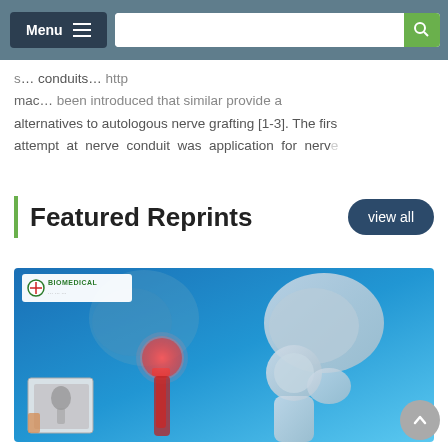Menu | [search bar]
alternatives to autologous nerve grafting [1-3]. The first attempt at nerve conduit was application for nerve
Featured Reprints
[Figure (photo): Medical illustration showing hip joint anatomy with a highlighted prosthetic hip implant (red glowing ball joint with rod) on the left side, and a 3D rendered bone skeleton hip joint on the right, set against a blue gradient background. A smaller inset X-ray image of the lower limb is visible in the bottom-left corner. The Biomedical logo is shown in the top-left of the image.]